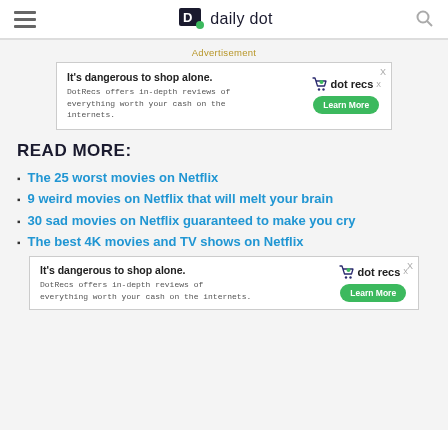daily dot
Advertisement
[Figure (other): DotRecs advertisement banner: 'It's dangerous to shop alone. DotRecs offers in-depth reviews of everything worth your cash on the internets.' with Learn More button]
READ MORE:
The 25 worst movies on Netflix
9 weird movies on Netflix that will melt your brain
30 sad movies on Netflix guaranteed to make you cry
The best 4K movies and TV shows on Netflix
[Figure (other): DotRecs advertisement banner (bottom): 'It's dangerous to shop alone. DotRecs offers in-depth reviews of everything worth your cash on the internets.' with Learn More button]